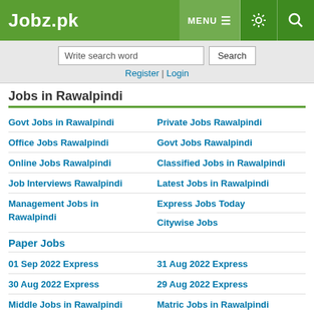Jobz.pk
Write search word | Search | Register | Login
Jobs in Rawalpindi
Govt Jobs in Rawalpindi
Private Jobs Rawalpindi
Office Jobs Rawalpindi
Govt Jobs Rawalpindi
Online Jobs Rawalpindi
Classified Jobs in Rawalpindi
Job Interviews Rawalpindi
Latest Jobs in Rawalpindi
Management Jobs in Rawalpindi
Express Jobs Today
Citywise Jobs
Paper Jobs
01 Sep 2022 Express
31 Aug 2022 Express
30 Aug 2022 Express
29 Aug 2022 Express
Middle Jobs in Rawalpindi
Matric Jobs in Rawalpindi
Intermediate Jobs in Rawalpindi